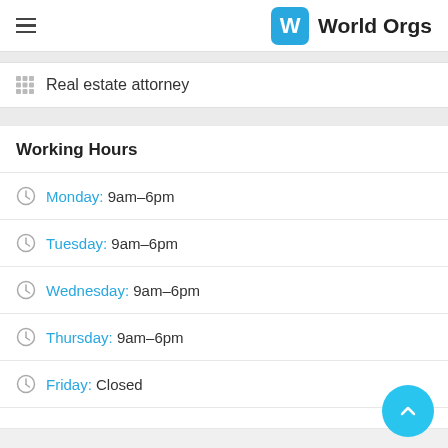World Orgs
Real estate attorney
Working Hours
Monday: 9am–6pm
Tuesday: 9am–6pm
Wednesday: 9am–6pm
Thursday: 9am–6pm
Friday: Closed